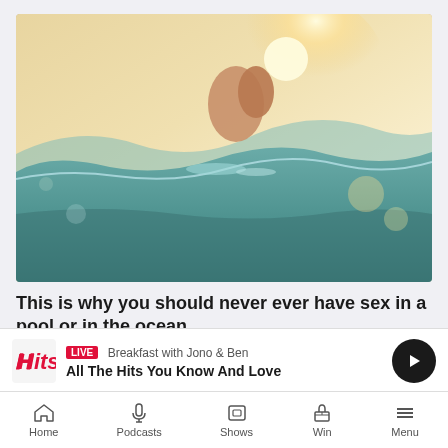[Figure (photo): Two people embracing in ocean waves with sun flare in background]
This is why you should never ever have sex in a pool or in the ocean
The Hits
[Figure (photo): Partial image showing a man's face and a Steve Irwin Gala Dinner logo/text]
LIVE Breakfast with Jono & Ben
All The Hits You Know And Love
Home | Podcasts | Shows | Win | Menu